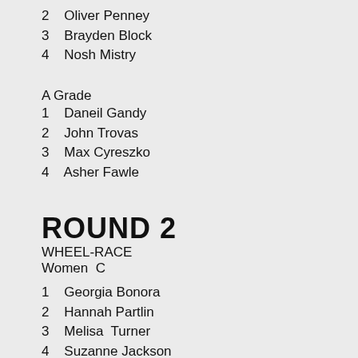2   Oliver Penney
3   Brayden Block
4   Nosh Mistry
A Grade
1   Daneil Gandy
2   John Trovas
3   Max Cyreszko
4   Asher Fawle
ROUND 2
WHEEL-RACE
Women  C
1   Georgia Bonora
2   Hannah Partlin
3   Melisa  Turner
4   Suzanne Jackson
Women B
1   Fiona Bonnett
2   Jancinta Cliff
3   Claudia  Jackson
4   Kirstie Dolton
Women A